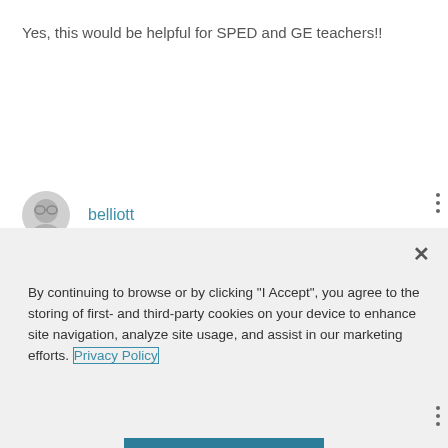Yes, this would be helpful for SPED and GE teachers!!
belliott
[Figure (illustration): User avatar icon showing a cartoon face with glasses, partially visible as a circle]
By continuing to browse or by clicking "I Accept", you agree to the storing of first- and third-party cookies on your device to enhance site navigation, analyze site usage, and assist in our marketing efforts. Privacy Policy
I Accept
Cookies Settings